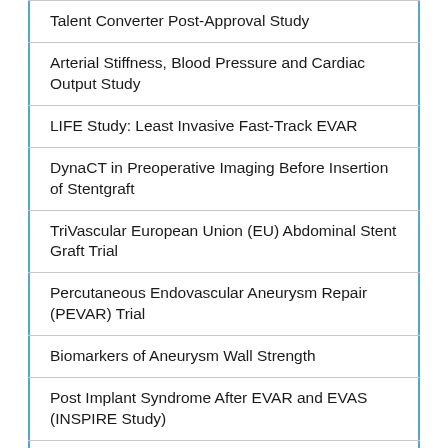Talent Converter Post-Approval Study
Arterial Stiffness, Blood Pressure and Cardiac Output Study
LIFE Study: Least Invasive Fast-Track EVAR
DynaCT in Preoperative Imaging Before Insertion of Stentgraft
TriVascular European Union (EU) Abdominal Stent Graft Trial
Percutaneous Endovascular Aneurysm Repair (PEVAR) Trial
Biomarkers of Aneurysm Wall Strength
Post Implant Syndrome After EVAR and EVAS (INSPIRE Study)
Control Post Endovascular Treatment of Aortic Aneurisms Through Magnetic Resonance and Ultrasound (SAFEVAR)
Estimation of Biomechanical Aortic Wall Properties in Healthy